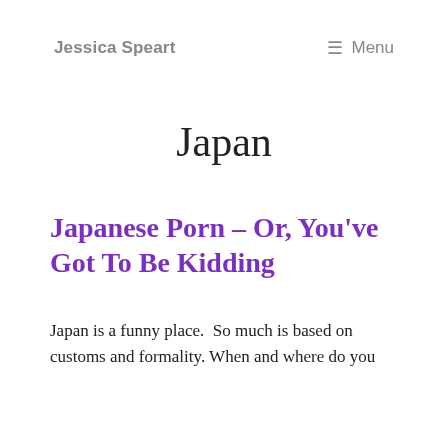Jessica Speart   ☰ Menu
Japan
Japanese Porn – Or, You've Got To Be Kidding
Japan is a funny place.  So much is based on customs and formality. When and where do you